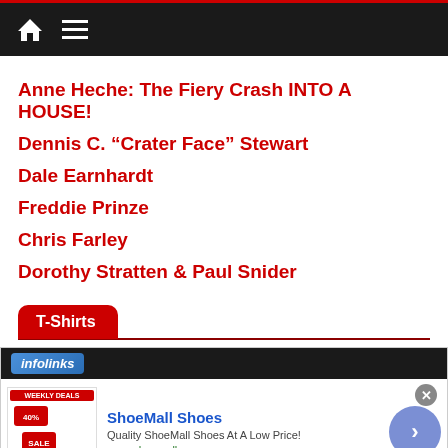Navigation bar with home and menu icons
Anne Heche: The Fiery Crash INTO A HOUSE!
Dennis C. “Crater Face” Stewart
Dale Earnhardt
Freddie Prinze
Chris Farley
Dorothy Stratten & Paul Snider
T-Shirts
[Figure (screenshot): Infolinks advertisement for ShoeMall Shoes showing weekly deals image, title ShoeMall Shoes, description Quality ShoeMall Shoes At A Low Price!, URL www.shoemall.com, with a blue arrow navigation button and close button]